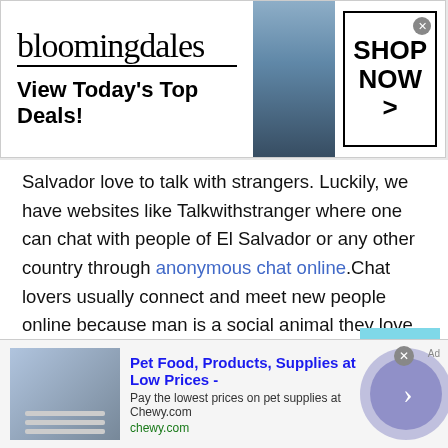[Figure (screenshot): Bloomingdale's advertisement banner with logo, 'View Today's Top Deals!' tagline, woman in blue hat, and 'SHOP NOW >' button]
Salvador love to talk with strangers. Luckily, we have websites like Talkwithstranger where one can chat with people of El Salvador or any other country through anonymous chat online.Chat lovers usually connect and meet new people online because man is a social animal they love to chat with people of El Salvador. A person must socialize to prosper in the world. This social network helps a person to live their life joyfully.
Chat with people of El Salvador
[Figure (screenshot): Chewy.com advertisement: Pet Food, Products, Supplies at Low Prices - Pay the lowest prices on pet supplies at Chewy.com, chewy.com]